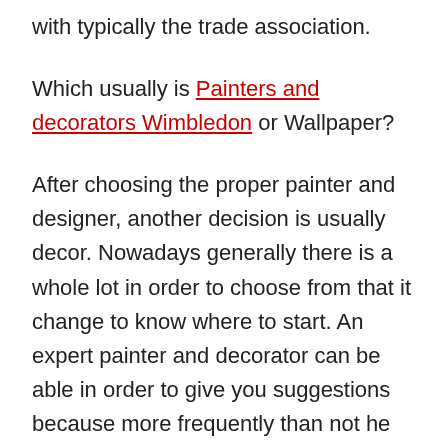with typically the trade association.
Which usually is Painters and decorators Wimbledon or Wallpaper?
After choosing the proper painter and designer, another decision is usually decor. Nowadays generally there is a whole lot in order to choose from that it change to know where to start. An expert painter and decorator can be able in order to give you suggestions because more frequently than not he will have tackled anything similar in his work and might know what appears good and just what doesn't.
Paint. This kind of has some benefits and disadvantages. A person can choose coming from an uncountable sum of colours and tones